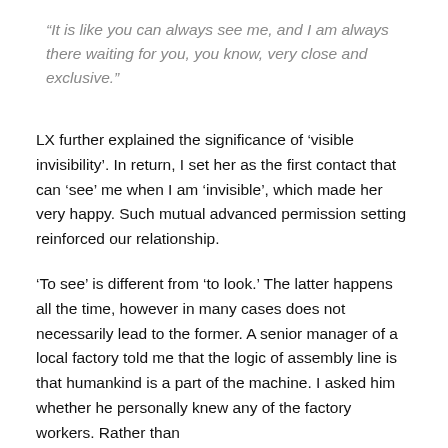“It is like you can always see me, and I am always there waiting for you, you know, very close and exclusive.”
LX further explained the significance of ‘visible invisibility’. In return, I set her as the first contact that can ‘see’ me when I am ‘invisible’, which made her very happy. Such mutual advanced permission setting reinforced our relationship.
‘To see’ is different from ‘to look.’ The latter happens all the time, however in many cases does not necessarily lead to the former. A senior manager of a local factory told me that the logic of assembly line is that humankind is a part of the machine. I asked him whether he personally knew any of the factory workers. Rather than